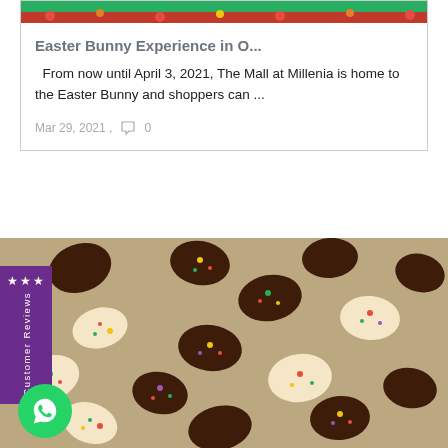[Figure (photo): Top portion of a card showing a grass/flower outdoor Easter scene image (partially cropped at top)]
Easter Bunny Experience in O...
From now until April 3, 2021, The Mall at Millenia is home to the Easter Bunny and shoppers can ...
Mar 29, 2021 .  0
[Figure (photo): Close-up photo of chocolate Easter eggs with colorful sprinkles arranged on a white surface. A purple sidebar badge with stars and 'Customer Reviews' text is overlaid on the left. A green WhatsApp button appears at bottom left.]